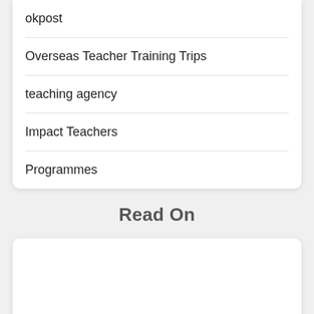okpost
Overseas Teacher Training Trips
teaching agency
Impact Teachers
Programmes
Read On
[Figure (photo): A grayscale/gradient image placeholder at the bottom of the page, partially visible, with a green circular back-to-top button in the lower left.]